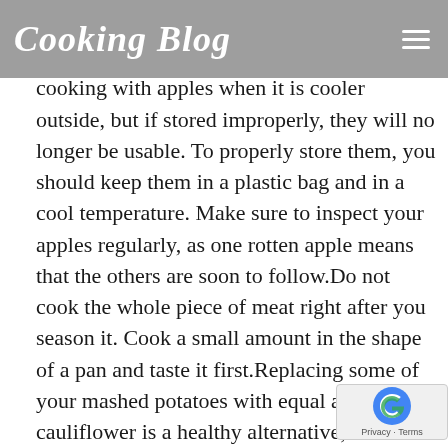Cooking Blog
sometimes be a tricky and does tend to take up some time.Many individuals enjoy cooking with apples when it is cooler outside, but if stored improperly, they will no longer be usable. To properly store them, you should keep them in a plastic bag and in a cool temperature. Make sure to inspect your apples regularly, as one rotten apple means that the others are soon to follow.Do not cook the whole piece of meat right after you season it. Cook a small amount in the shape of a pan and taste it first.Replacing some of your mashed potatoes with equal amounts of cauliflower is a healthy alternative, reducing fat and calories. Cauliflower has little taste of